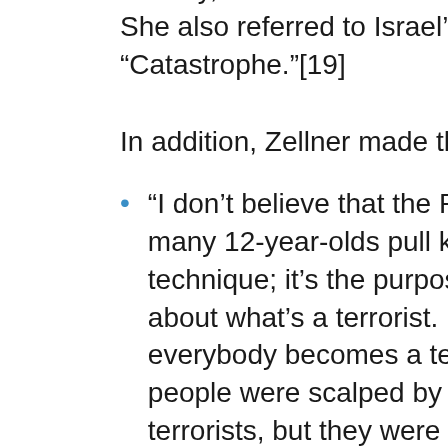country," and Israel as a nation w... She also referred to Israel's 1948... "Catastrophe."[19]
In addition, Zellner made the fo...
"I don't believe that the Pale... many 12-year-olds pull knive... technique; it's the purpose, i... about what's a terrorist. If w... everybody becomes a terro... people were scalped by Na... terrorists, but they were fig... their liberation. But Dylan...